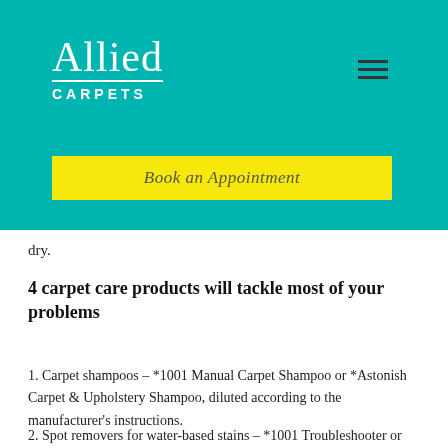[Figure (logo): Allied Carpets logo in white text on teal background, with 'Allied' in large serif font and 'CARPETS' in small caps below a horizontal white underline.]
Book an Appointment
dry.
4 carpet care products will tackle most of your problems
1. Carpet shampoos – *1001 Manual Carpet Shampoo or *Astonish Carpet & Upholstery Shampoo, diluted according to the manufacturer's instructions.
2. Spot removers for water-based stains – *1001 Troubleshooter or *OxyKic Permanent Carpet Spot Stain